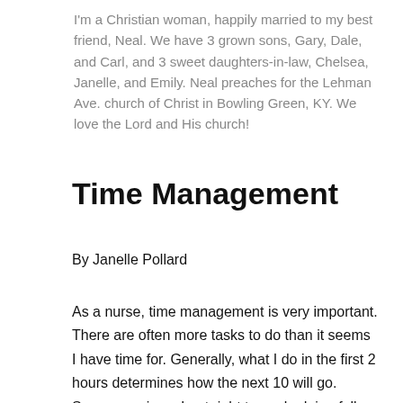I'm a Christian woman, happily married to my best friend, Neal. We have 3 grown sons, Gary, Dale, and Carl, and 3 sweet daughters-in-law, Chelsea, Janelle, and Emily. Neal preaches for the Lehman Ave. church of Christ in Bowling Green, KY. We love the Lord and His church!
Time Management
By Janelle Pollard
As a nurse, time management is very important. There are often more tasks to do than it seems I have time for. Generally, what I do in the first 2 hours determines how the next 10 will go. Some mornings, I get right to work, doing full assessments on my patients, filling out their whiteboards, and